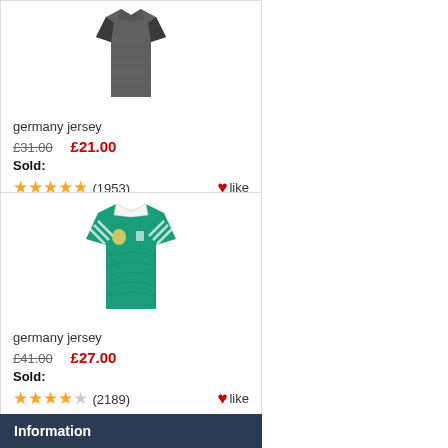[Figure (photo): Dark grey/black Germany football jersey product image]
germany jersey
£31.00   £21.00
Sold:
★★★★★ (1953)  ❤like
[Figure (photo): Teal/green Germany football jersey product image]
germany jersey
£41.00   £27.00
Sold:
★★★★☆ (2189)  ❤like
Information